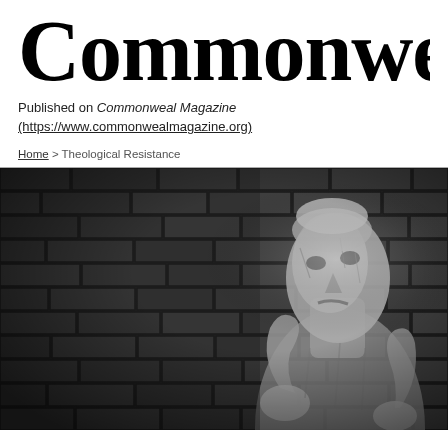Commonweal
Published on Commonweal Magazine (https://www.commonwealmagazine.org)
Home > Theological Resistance
[Figure (photo): Black and white photograph of a textured sculpture of a gaunt human figure looking upward, set against a brick wall background. The sculpture has detailed, weathered surface texture suggesting suffering or prayer.]